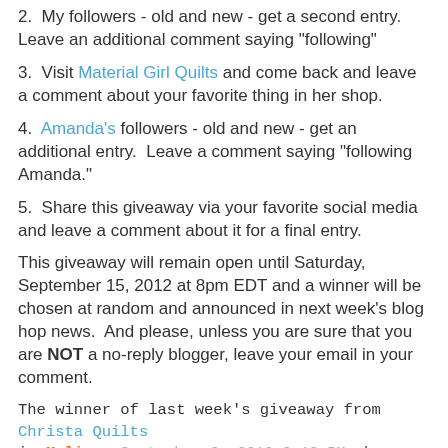2.  My followers - old and new - get a second entry.  Leave an additional comment saying "following"
3.  Visit Material Girl Quilts and come back and leave a comment about your favorite thing in her shop.
4.  Amanda's followers - old and new - get an additional entry.  Leave a comment saying "following Amanda."
5.  Share this giveaway via your favorite social media and leave a comment about it for a final entry.
This giveaway will remain open until Saturday, September 15, 2012 at 8pm EDT and a winner will be chosen at random and announced in next week's blog hop news.  And please, unless you are sure that you are NOT a no-reply blogger, leave your email in your comment.
The winner of last week's giveaway from Christa Quilts is Melissa September 3, 2012 8:12 PM who said: "I'm still in love with Seaside by October Afternoon and Vintage Modern. There is a new spot in my heart for Bella though."